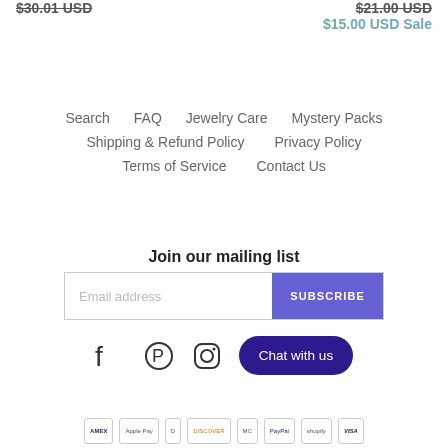$30.01 USD (strikethrough) | $21.00 USD (strikethrough) $15.00 USD Sale
Search
FAQ
Jewelry Care
Mystery Packs
Shipping & Refund Policy
Privacy Policy
Terms of Service
Contact Us
Join our mailing list
Email address  SUBSCRIBE
[Figure (infographic): Social media icons: Facebook, Pinterest, Instagram; Chat with us button]
[Figure (infographic): Payment method logos: American Express, Apple Pay, Diners Club, Discover, Mastercard, PayPal, Shopify Pay, Visa]